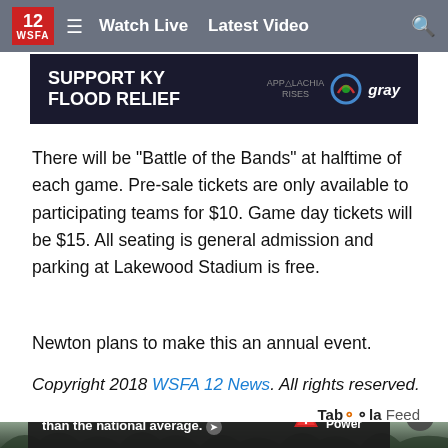12 WSFA  ☰  Watch Live  Latest Video  🔍
[Figure (screenshot): SUPPORT KY FLOOD RELIEF banner ad with Appalachia Rises and gray logo]
There will be "Battle of the Bands" at halftime of each game. Pre-sale tickets are only available to participating teams for $10. Game day tickets will be $15. All seating is general admission and parking at Lakewood Stadium is free.
Newton plans to make this an annual event.
Copyright 2018 WSFA 12 News. All rights reserved.
[Figure (screenshot): Taboola Feed label]
[Figure (photo): Background photo of rooftop and bare trees with Alabama Power ad overlay: Restoration times 55% better than the national average.]